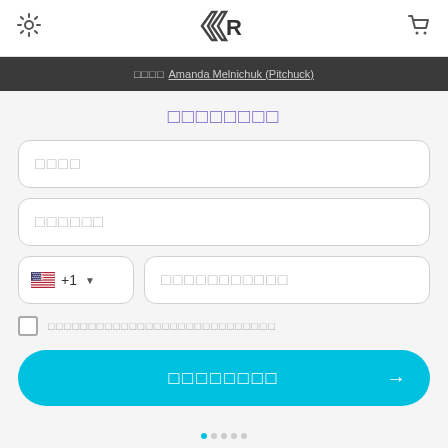Settings icon | Logo | Cart icon
□□□□ Amanda Melnichuk (Pitchuck)
□□□□□□□□
□□□□ (input field)
□□□□□□ (input field)
🇺🇸 +1 ▼  |  □□□□□□□□□□□ (phone input)
□ □□□□□□□□□□□□□□□□□□□□□□□□□□
□□□□□□□□ → (submit button)